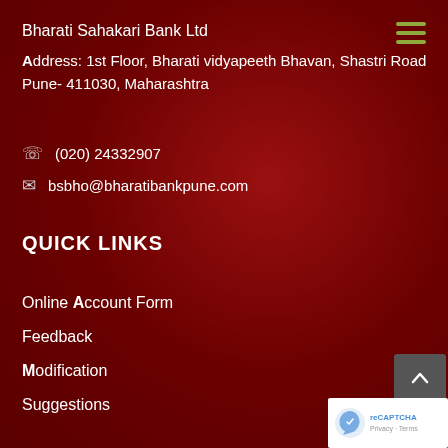Bharati Sahakari Bank Ltd
Address: 1st Floor, Bharati vidyapeeth Bhavan, Shastri Road
Pune- 411030, Maharashtra
(020) 24332907
bsbho@bharatibankpune.com
QUICK LINKS
Online Account Form
Feedback
Modification
Suggestions
[Figure (other): Hamburger menu icon with three olive/yellow-green horizontal lines]
[Figure (other): Scroll-to-top button (dark grey box with upward chevron) and reCAPTCHA badge (white box with reCAPTCHA logo and Privacy - Terms text)]